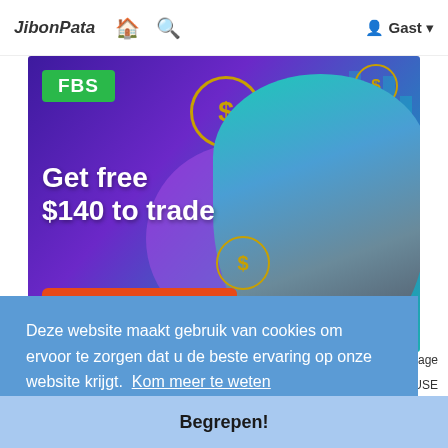JibonPata  🏠  🔍  👤 Gast ▼
[Figure (photo): FBS broker advertisement banner showing a man in suit, dollar sign circles, and text 'Get free $140 to trade' with a 'Try now' orange CTA button on a purple/teal gradient background]
Deze website maakt gebruik van cookies om ervoor te zorgen dat u de beste ervaring op onze website krijgt.  Kom meer te weten
Begrepen!